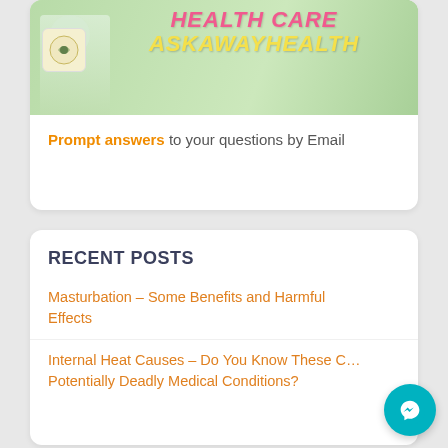[Figure (screenshot): Health care banner image with green background, showing HEALTH CARE and ASKAWAYHEALTH text in pink/yellow with a logo icon on left and doctor in background]
Prompt answers to your questions by Email
RECENT POSTS
Masturbation – Some Benefits and Harmful Effects
Internal Heat Causes – Do You Know These Potentially Deadly Medical Conditions?